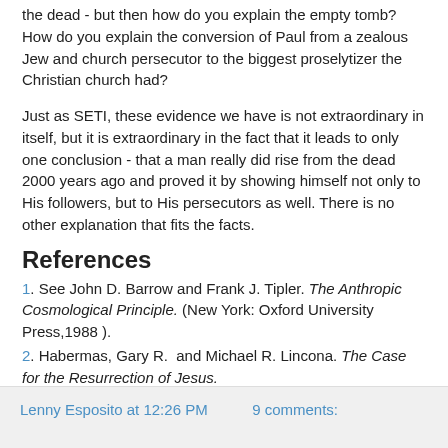the dead - but then how do you explain the empty tomb? How do you explain the conversion of Paul from a zealous Jew and church persecutor to the biggest proselytizer the Christian church had?
Just as SETI, these evidence we have is not extraordinary in itself, but it is extraordinary in the fact that it leads to only one conclusion - that a man really did rise from the dead 2000 years ago and proved it by showing himself not only to His followers, but to His persecutors as well. There is no other explanation that fits the facts.
References
1. See John D. Barrow and Frank J. Tipler. The Anthropic Cosmological Principle. (New York: Oxford University Press,1988 ).
2. Habermas, Gary R.  and Michael R. Lincona. The Case for the Resurrection of Jesus. (Grand Rapids, MI: Kregel Pub, 2004.)
Lenny Esposito at 12:26 PM   9 comments: